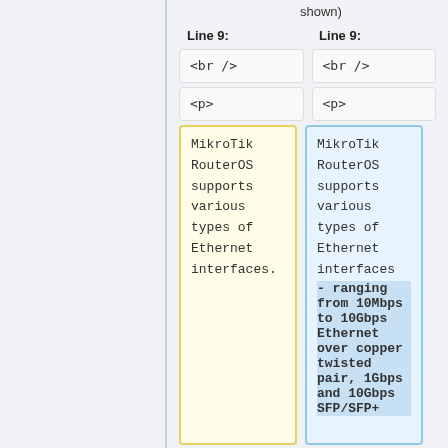shown)
Line 9:
Line 9:
<br />
<br />
<p>
<p>
MikroTik RouterOS supports various types of Ethernet interfaces.
MikroTik RouterOS supports various types of Ethernet interfaces - ranging from 10Mbps to 10Gbps Ethernet over copper twisted pair, 1Gbps and 10Gbps SFP/SFP+